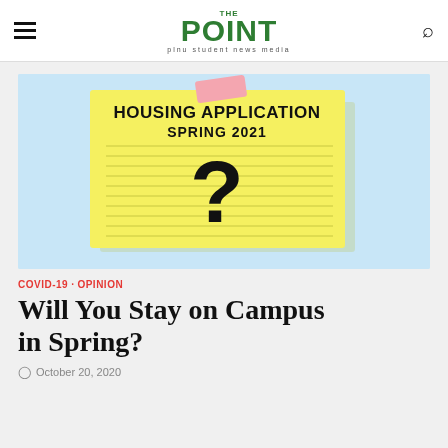THE POINT — plnu student news media
[Figure (illustration): A yellow sticky note pinned with a pink tape piece on a light blue background. The note reads 'HOUSING APPLICATION SPRING 2021' at the top with a large black question mark in the center. The note has horizontal ruled lines.]
COVID-19 · OPINION
Will You Stay on Campus in Spring?
October 20, 2020